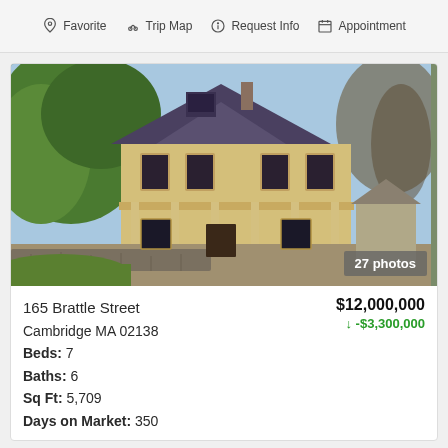Favorite  Trip Map  Request Info  Appointment
[Figure (photo): Exterior photo of a large Victorian-style house with yellow siding, dark slate mansard roof, covered front porch with columns, surrounded by lush green trees, with a stone retaining wall in the foreground. Sunny spring day.]
27 photos
165 Brattle Street Cambridge MA 02138
Beds: 7
Baths: 6
Sq Ft: 5,709
Days on Market: 350
$12,000,000
↓ -$3,300,000